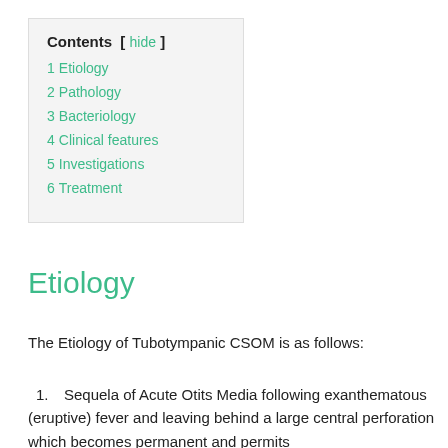Contents [ hide ]
1 Etiology
2 Pathology
3 Bacteriology
4 Clinical features
5 Investigations
6 Treatment
Etiology
The Etiology of Tubotympanic CSOM is as follows:
1. Sequela of Acute Otits Media following exanthematous (eruptive) fever and leaving behind a large central perforation which becomes permanent and permits